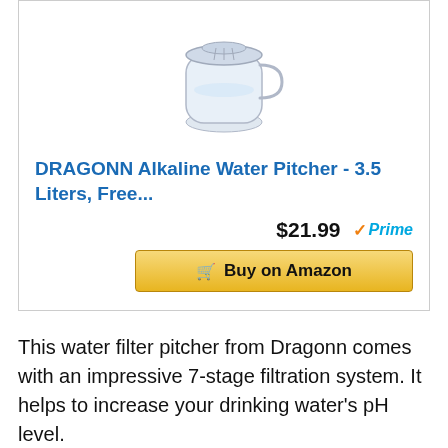[Figure (photo): White alkaline water filter pitcher with lid and filter cartridge visible]
DRAGONN Alkaline Water Pitcher - 3.5 Liters, Free...
$21.99 ✓Prime
🛒 Buy on Amazon
This water filter pitcher from Dragonn comes with an impressive 7-stage filtration system. It helps to increase your drinking water's pH level.
The multi-stage cartridge uses carbon filtration, ion exchange resin, mineral balls,